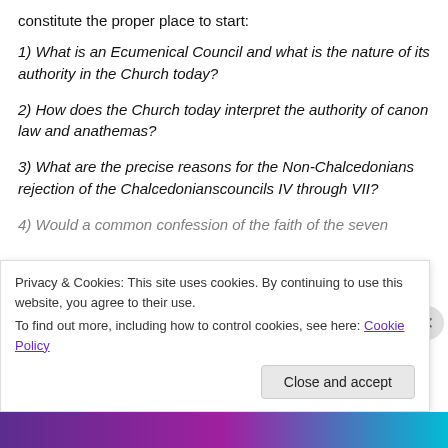constitute the proper place to start:
1) What is an Ecumenical Council and what is the nature of its authority in the Church today?
2) How does the Church today interpret the authority of canon law and anathemas?
3) What are the precise reasons for the Non-Chalcedonians rejection of the Chalcedonianscouncils IV through VII?
4) Would a common confession of the faith of the seven...
Privacy & Cookies: This site uses cookies. By continuing to use this website, you agree to their use.
To find out more, including how to control cookies, see here: Cookie Policy
Close and accept